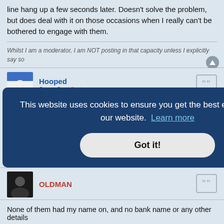line hang up a few seconds later. Doesn't solve the problem, but does deal with it on those occasions when I really can't be bothered to engage with them.
Whilst I am a moderator, I am NOT posting in that capacity unless I explicitly say so
Hooped
Super Contributor
Re: SCAM ALERTS
22 May 2021 07:45
Today's attempt is a text saying that our Census return is incomplete, click on the link to provide the missing data or risk a £1,000 fine. Yeah, right.
OLDMAN
This website uses cookies to ensure you get the best experience on our website. Learn more
Got it!
each with
attempt had
None of them had my name on, and no bank name or any other details